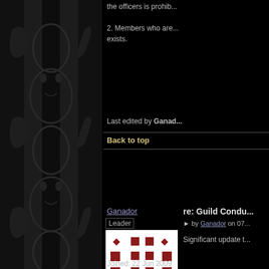the officers is prohib...
2. Members who are... exists.
Last edited by Ganad...
Back to top
Ganador
Leader
[Figure (illustration): Grid of red diamond and square shapes on white background forming an avatar/badge image]
re: Guild Condu...
by Ganador on 07...
Significant update t...
Joined: 22 Jun 2009
[Figure (illustration): Dark decorative carved stone face/gargoyle ornamental panel on left side]